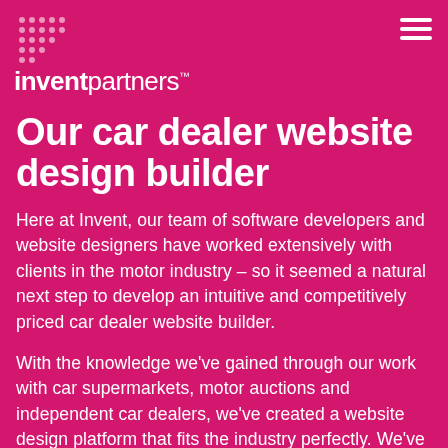[Figure (logo): Invent Partners logo — pink dot grid above the word 'inventpartners' with trademark symbol]
Our car dealer website design builder
Here at Invent, our team of software developers and website designers have worked extensively with clients in the motor industry – so it seemed a natural next step to develop an intuitive and competitively priced car dealer website builder.
With the knowledge we've gained through our work with car supermarkets, motor auctions and independent car dealers, we've created a website design platform that fits the industry perfectly. We've also developed an appraisal system that allows traders to record in-depth details and descriptions for use on their websites – so if you need